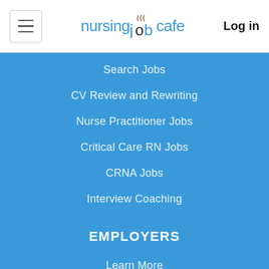nursingjobcafe  Log in
Search Jobs
CV Review and Rewriting
Nurse Practitioner Jobs
Critical Care RN Jobs
CRNA Jobs
Interview Coaching
EMPLOYERS
Learn More
Post a Job
Search Resumes
Employer Services